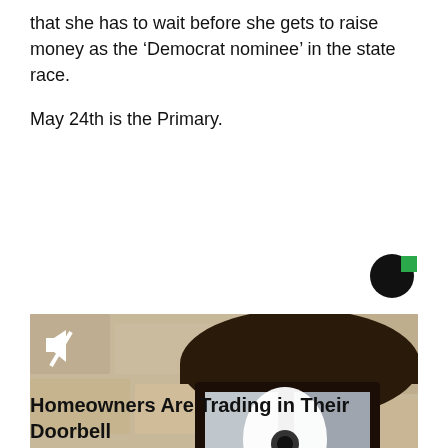that she has to wait before she gets to raise money as the ‘Democrat nominee’ in the state race.

May 24th is the Primary.
[Figure (logo): Circular logo: black circle with white C shape and green square accent in top right]
[Figure (photo): Close-up photo of a black outdoor wall lantern with a white security camera installed inside it, a hand holding a small device near the bottom]
Homeowners Are Trading in Their Doorbell